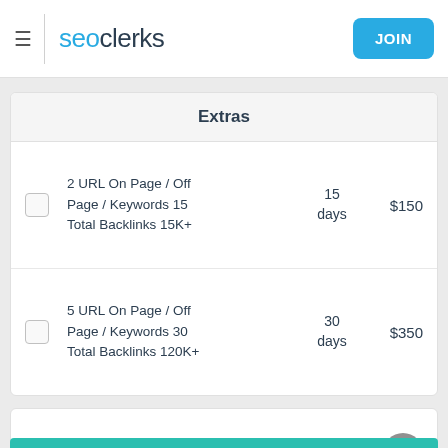seoclerks JOIN
Extras
2 URL On Page / Off Page / Keywords 15 Total Backlinks 15K+
15 days  $150
5 URL On Page / Off Page / Keywords 30 Total Backlinks 120K+
30 days  $350
$200